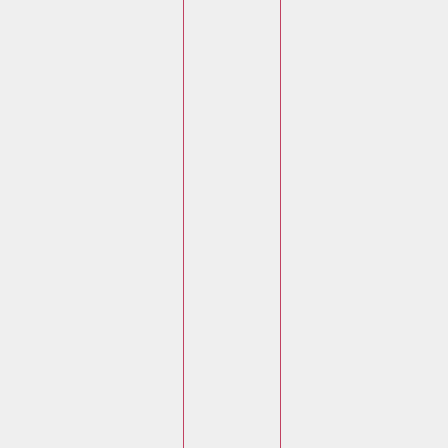Since I'm address http:/
It doesn items.
Laura Posted o
Update: It behav panel. It scrolls
I closed above i